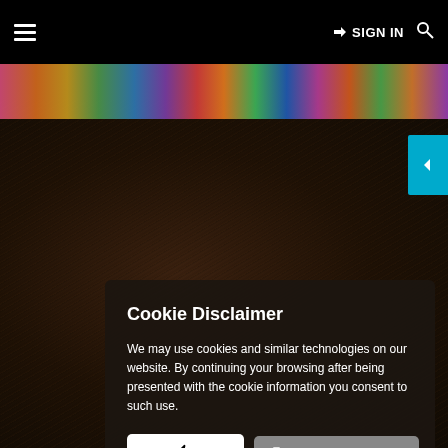≡  ➡ SIGN IN  🔍
[Figure (screenshot): Colorful banner strip with crowd/market photo thumbnails]
[Figure (photo): Dark background with blurred hair/person photo and cyan arrow navigation button on right edge]
Cookie Disclaimer
We may use cookies and similar technologies on our website. By continuing your browsing after being presented with the cookie information you consent to such use.
👍 OK    📄 Visit privacy page